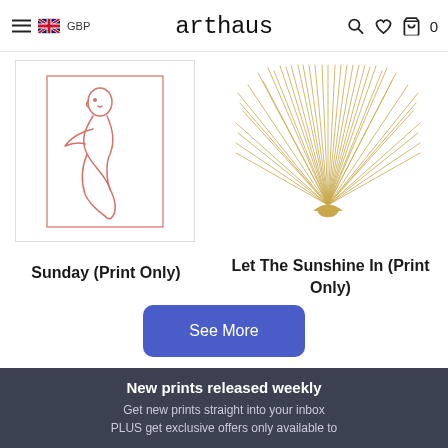arthaus — GBP navigation header
[Figure (photo): Line art print of a reclining figure in red/pink lines on white background]
[Figure (photo): Golden sunburst/palm frond radiating lines art print on white background]
Sunday (Print Only)
Let The Sunshine In (Print Only)
See More
New prints released weekly
Get new prints straight into your inbox PLUS get exclusive offers only available to